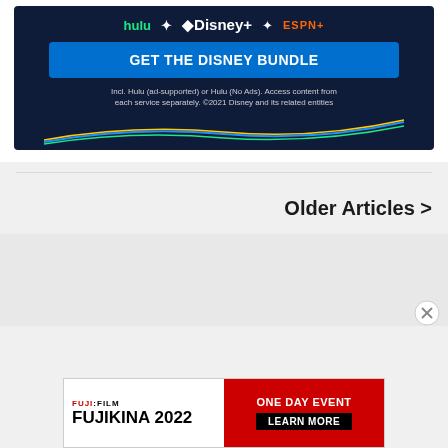[Figure (screenshot): Disney Bundle advertisement with Hulu, Disney+, ESPN+ logos, a blue 'GET THE DISNEY BUNDLE' button, and fine print text on dark navy background with colorful swoosh lines]
Older Articles >
[Figure (screenshot): Fujifilm Fujikina 2022 ONE DAY EVENT advertisement banner with red Learn More button and close X button overlay]